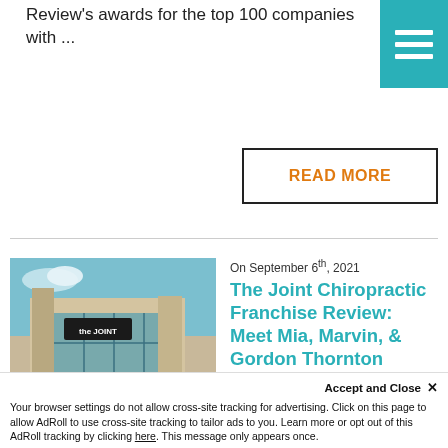Review's awards for the top 100 companies with ...
[Figure (other): Teal/cyan hamburger menu icon (three horizontal white lines on teal background) in top-right corner]
READ MORE
On September 6th, 2021
[Figure (photo): Exterior photo of The Joint Chiropractic franchise building with signage, blue sky and landscaping]
The Joint Chiropractic Franchise Review: Meet Mia, Marvin, & Gordon Thornton
How a family of entrepreneurs found success with the fast-growing chiropractic franchise. For the Gordon's...
Accept and Close ×
Your browser settings do not allow cross-site tracking for advertising. Click on this page to allow AdRoll to use cross-site tracking to tailor ads to you. Learn more or opt out of this AdRoll tracking by clicking here. This message only appears once.